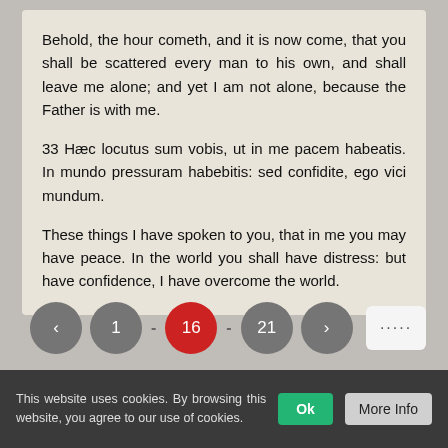Behold, the hour cometh, and it is now come, that you shall be scattered every man to his own, and shall leave me alone; and yet I am not alone, because the Father is with me.
33 Hæc locutus sum vobis, ut in me pacem habeatis. In mundo pressuram habebitis: sed confidite, ego vici mundum.
These things I have spoken to you, that in me you may have peace. In the world you shall have distress: but have confidence, I have overcome the world.
[Figure (other): Pagination controls showing navigation buttons: back arrow, page 1, dash, current page 16 (highlighted in red), dash, page 21, forward arrow, and a dots/more button.]
This website uses cookies. By browsing this website, you agree to our use of cookies.